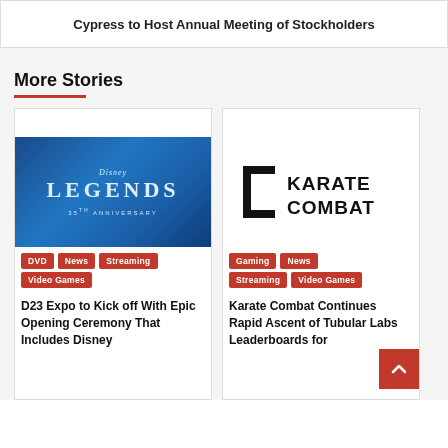Cypress to Host Annual Meeting of Stockholders
More Stories
[Figure (photo): Disney Legends 35th Anniversary promotional image with blue sparkle background]
DVD | News | Streaming | Video Games
D23 Expo to Kick off With Epic Opening Ceremony That Includes Disney
[Figure (logo): Karate Combat logo on white background]
Gaming | News | Streaming | Video Games
Karate Combat Continues Rapid Ascent of Tubular Labs Leaderboards for